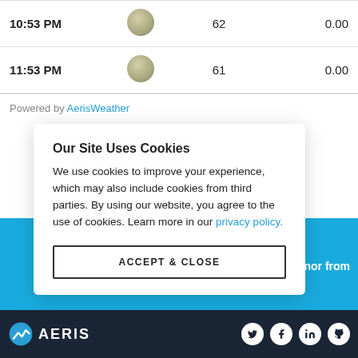| Time | Icon | Temp | Precip |
| --- | --- | --- | --- |
| 10:53 PM | [cloud icon] | 62 | 0.00 |
| 11:53 PM | [cloud icon] | 61 | 0.00 |
Powered by AerisWeather
Our Site Uses Cookies
We use cookies to improve your experience, which may also include cookies from third parties. By using our website, you agree to the use of cookies. Learn more in our privacy policy.
ACCEPT & CLOSE
...innamnor from ...eather
AERIS [social icons]